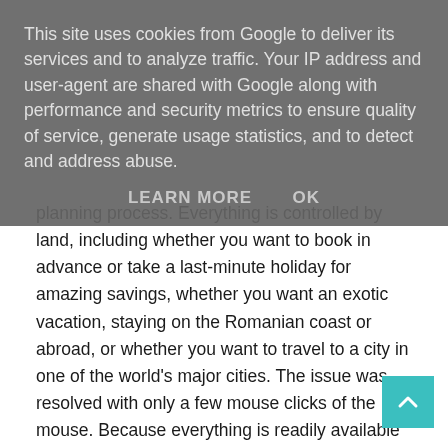This site uses cookies from Google to deliver its services and to analyze traffic. Your IP address and user-agent are shared with Google along with performance and security metrics to ensure quality of service, generate usage statistics, and to detect and address abuse.
LEARN MORE    OK
planning process. Everything is controlled by land, including whether you want to book in advance or take a last-minute holiday for amazing savings, whether you want an exotic vacation, staying on the Romanian coast or abroad, or whether you want to travel to a city in one of the world's major cities. The issue was resolved with only a few mouse clicks of the mouse. Because everything is readily available through the same search engine, even people who prefer to manage everything manually and select each service independently will be satisfied.